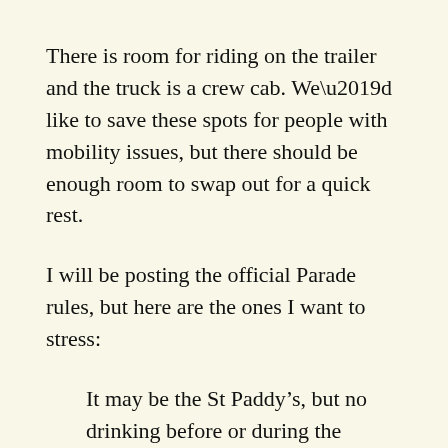There is room for riding on the trailer and the truck is a crew cab. We’d like to save these spots for people with mobility issues, but there should be enough room to swap out for a quick rest.
I will be posting the official Parade rules, but here are the ones I want to stress:
It may be the St Paddy’s, but no drinking before or during the parade.
No holding up the parade. Keep moving. If you want to stop and demo some fighting, fine, start at a point in front of our group and finish when the trailer passes you. (The